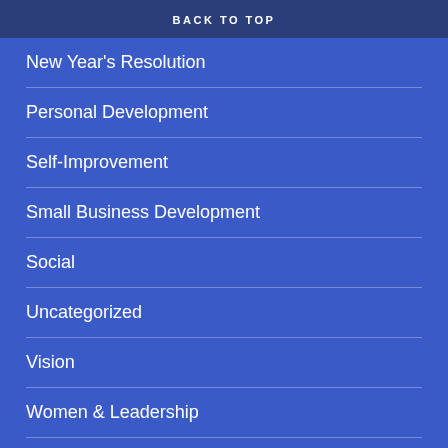BACK TO TOP
New Year's Resolution
Personal Development
Self-Improvement
Small Business Development
Social
Uncategorized
Vision
Women & Leadership
Meta